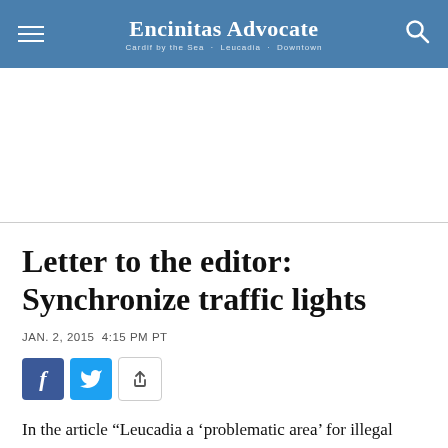Encinitas Advocate
[Figure (other): Advertisement banner area (blank white space)]
Letter to the editor: Synchronize traffic lights
JAN. 2, 2015 4:15 PM PT
[Figure (other): Social sharing buttons: Facebook, Twitter, and share icon]
In the article “Leucadia a ‘problematic area’ for illegal